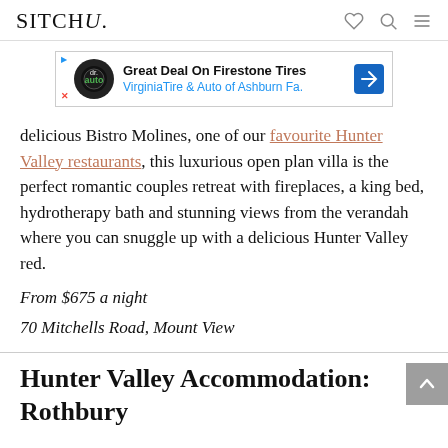SITCHU.
[Figure (screenshot): Advertisement banner: Great Deal On Firestone Tires — Virginia Tire & Auto of Ashburn Fa.]
delicious Bistro Molines, one of our favourite Hunter Valley restaurants, this luxurious open plan villa is the perfect romantic couples retreat with fireplaces, a king bed, hydrotherapy bath and stunning views from the verandah where you can snuggle up with a delicious Hunter Valley red.
From $675 a night
70 Mitchells Road, Mount View
Hunter Valley Accommodation: Rothbury